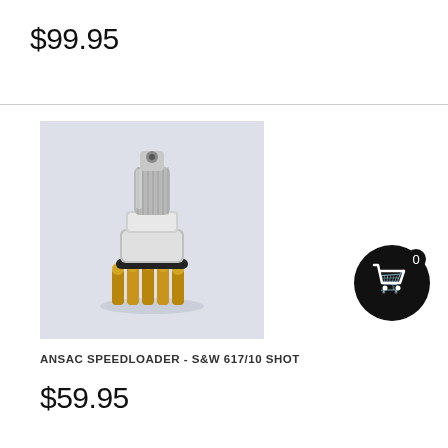$99.95
[Figure (photo): ANSAC Speedloader product photo - a silver/chrome cylindrical speedloader device with brass cartridges visible at the bottom, on a light grey background]
ANSAC SPEEDLOADER - S&W 617/10 SHOT
$59.95